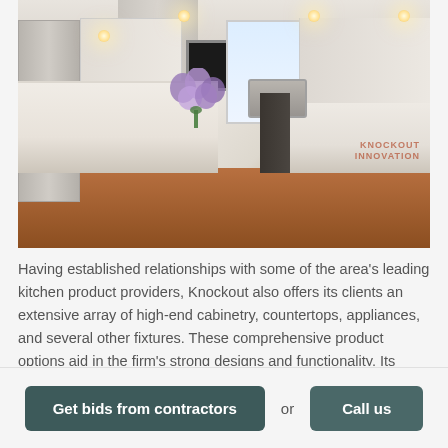[Figure (photo): Luxury white kitchen with marble island countertop, purple hydrangeas in a vase, stainless steel appliances, wood floors, recessed lighting, and a mounted TV. Knockout Renovation watermark in bottom right.]
Having established relationships with some of the area's leading kitchen product providers, Knockout also offers its clients an extensive array of high-end cabinetry, countertops, appliances, and several other fixtures. These comprehensive product options aid in the firm's strong designs and functionality. Its
Get bids from contractors  or  Call us